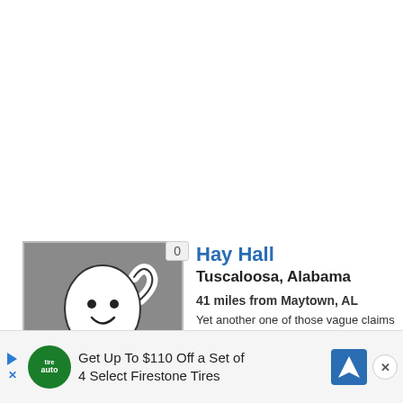[Figure (illustration): A cartoon ghost illustration (white ghost with a cheerful face and waving arm) on a gray background, with a badge showing the number 0 in the top right corner.]
Hay Hall
Tuscaloosa, Alabama
41 miles from Maytown, AL
Yet another one of those vague claims without any substantiation the "haunting of Hay Hall" usually goes something like this: One of the
[Figure (infographic): Advertisement banner: Get Up To $110 Off a Set of 4 Select Firestone Tires. Contains a TireAuto logo (green circle), a blue navigation arrow icon, and a close button (X).]